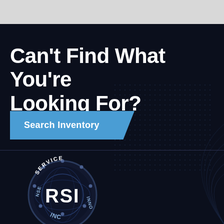Can't Find What You're Looking For?
Search Inventory
[Figure (logo): RSI circular logo with 'SERVICE' at top, 'RSI' large text in center, 'INNO' on right, 'NSE' on left, globe/world map graphic in background, dark blue color scheme]